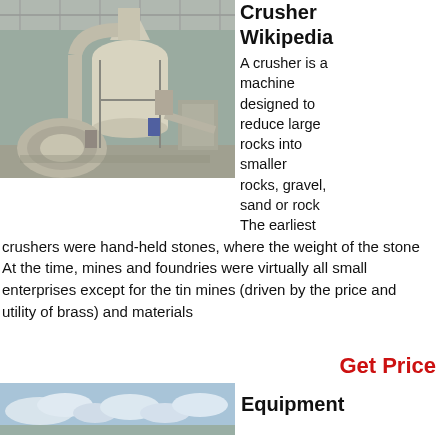[Figure (photo): Industrial crushing machine with large cylindrical vessel, ducts and auxiliary equipment inside a metal-roofed warehouse]
Crusher
Wikipedia
A crusher is a machine designed to reduce large rocks into smaller rocks, gravel, sand or rock The earliest crushers were hand-held stones, where the weight of the stone At the time, mines and foundries were virtually all small enterprises except for the tin mines (driven by the price and utility of brass) and materials
Get Price
[Figure (photo): Outdoor landscape with blue sky and clouds, partial view]
Equipment